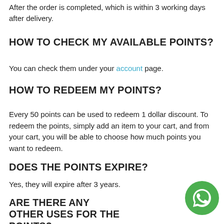After the order is completed, which is within 3 working days after delivery.
HOW TO CHECK MY AVAILABLE POINTS?
You can check them under your account page.
HOW TO REDEEM MY POINTS?
Every 50 points can be used to redeem 1 dollar discount. To redeem the points, simply add an item to your cart, and from your cart, you will be able to choose how much points you want to redeem.
DOES THE POINTS EXPIRE?
Yes, they will expire after 3 years.
ARE THERE ANY OTHER USES FOR THE POINTS?
From time to time, we will have special promotion in
[Figure (logo): WhatsApp green logo icon in the bottom right corner]